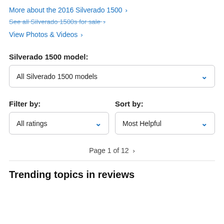More about the 2016 Silverado 1500 >
See all Silverado 1500s for sale >
View Photos & Videos >
Silverado 1500 model:
All Silverado 1500 models
Filter by:
All ratings
Sort by:
Most Helpful
Page 1 of 12 >
Trending topics in reviews